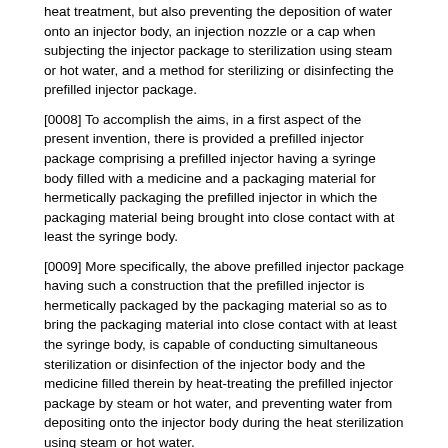heat treatment, but also preventing the deposition of water onto an injector body, an injection nozzle or a cap when subjecting the injector package to sterilization using steam or hot water, and a method for sterilizing or disinfecting the prefilled injector package.
[0008] To accomplish the aims, in a first aspect of the present invention, there is provided a prefilled injector package comprising a prefilled injector having a syringe body filled with a medicine and a packaging material for hermetically packaging the prefilled injector in which the packaging material being brought into close contact with at least the syringe body.
[0009] More specifically, the above prefilled injector package having such a construction that the prefilled injector is hermetically packaged by the packaging material so as to bring the packaging material into close contact with at least the syringe body, is capable of conducting simultaneous sterilization or disinfection of the injector body and the medicine filled therein by heat-treating the prefilled injector package by steam or hot water, and preventing water from depositing onto the injector body during the heat sterilization using steam or hot water.
[0010] In a second aspect of the present invention, there is provided a method for sterilizing or disinfecting the above prefilled injector package, which comprises the steps of packaging the prefilled injector with the packaging material such that the packaging material is brought into close contact with at least the syringe body, and then sterilizing the prefilled injector